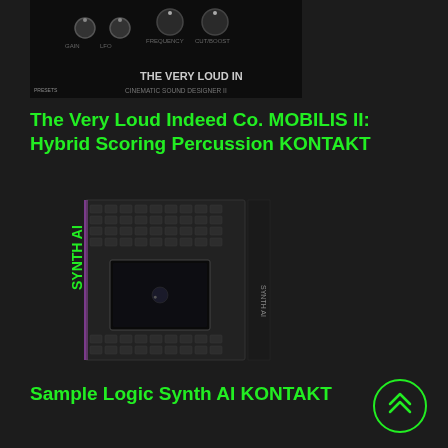[Figure (photo): Product image: The Very Loud Indeed Co. MOBILIS II cinematic sound designer plugin interface with knobs and 'THE VERY LOUD IN' text visible]
The Very Loud Indeed Co. MOBILIS II: Hybrid Scoring Percussion KONTAKT
[Figure (photo): Product box image: Sample Logic Synth AI KONTAKT - dark box with keyboard grid and 'SYNTH AI' text in green]
Sample Logic Synth AI KONTAKT
[Figure (photo): Product image: RIFFAGE: METAL with dark metallic eagle/bird artwork and 'RIFFAGE : METAL' text]